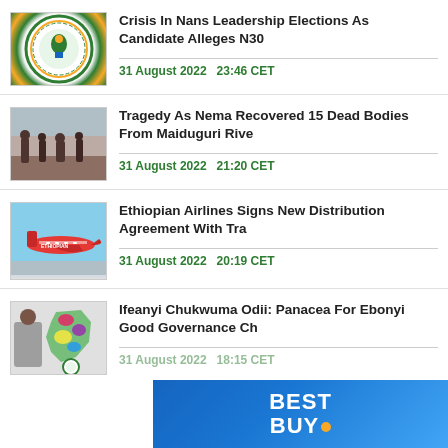[Figure (photo): Circular logo with green and gold border, white background with emblem]
Crisis In Nans Leadership Elections As Candidate Alleges N30
31 August 2022   23:46 CET
[Figure (photo): People outdoors in dusty environment]
Tragedy As Nema Recovered 15 Dead Bodies From Maiduguri Rive
31 August 2022   21:20 CET
[Figure (photo): Ethiopian Airlines red plane against blue sky]
Ethiopian Airlines Signs New Distribution Agreement With Tra
31 August 2022   20:19 CET
[Figure (photo): Man and map of Nigeria with colorful regions and green logo]
Ifeanyi Chukwuma Odii: Panacea For Ebonyi Good Governance Ch
31 August 2022   18:15 CET
[Figure (other): Best Buy advertisement banner with blue gradient background and yellow dot]